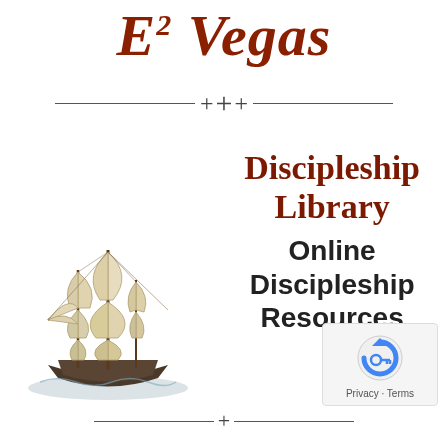E² Vegas
[Figure (illustration): Decorative cross ornament divider with horizontal lines on each side and plus/cross symbols in the center]
Discipleship Library
[Figure (illustration): Vintage tall sailing ship (clipper/galleon) on water, illustrated in beige/tan tones]
Online Discipleship Resources
[Figure (logo): reCAPTCHA logo icon (blue arrow circle with key symbol) with 'Privacy · Terms' text below]
[Figure (illustration): Decorative cross ornament divider at the bottom of the page]